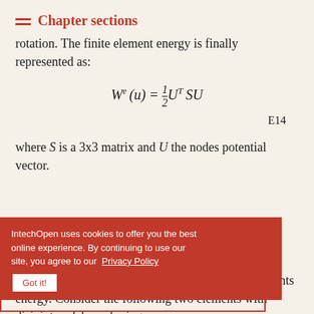Chapter sections
rotation. The finite element energy is finally represented as:
E14
where S is a 3x3 matrix and U the nodes potential vector.
2.2. Elements assembly
The total energy model is the sum of all finite elements energy. Consider the following two elements with disjoint nodal numbering: